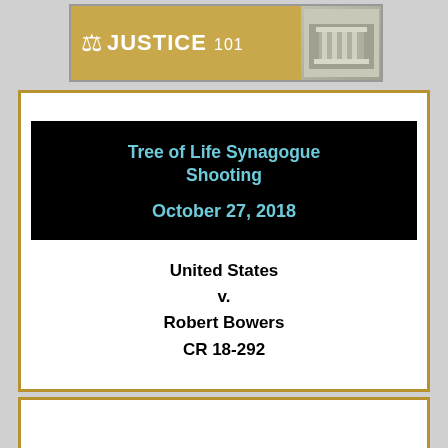[Figure (logo): Justice 101 website banner with gavel icon and courthouse image]
Tree of Life Synagogue Shooting
October 27, 2018
United States v. Robert Bowers CR 18-292
LEARN MORE